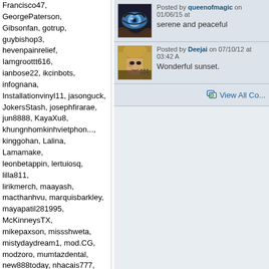Francisco47, GeorgePaterson, Gibsonfan, gotrup, guybishop3, hevenpainrelief, Iamgroottt616, ianbose22, ikcinbots, infognana, Installationvinyl11, jasonguck, JokersStash, josephfirarae, jun8888, KayaXu8, khungnhomkinhvietphon..., kinggohan, Lalina, Lamamake, leonbetappin, lertuiosq, lilla811, lirikmerch, maayash, macthanhvu, marquisbarkley, mayapatil281995, McKinneysTX, mikepaxson, missshweta, mistydaydream1, mod.CG, modzoro, mumtazdental, new888today, nhacais777, nhomxingfasadava, Ninagrace123, nojeses574, omnidigital, Onbetlinkcom, Penmanmnotaries, Pepa47D, phanmemketoan, PianoDoors, prestam1os, PsyBlade, qckntxhitnhed, SabineBrown, SalasloveStore, Samlokiy, sarmsvssteroids, Shakhawat101, Sharktankketogummiesu..., Shonu12aug, socialbacklink1, sonygatla, steverogers9005, susiestravelweb, SwastikPackersinMumba..., taigamekingfunus, texasnurselawyers, theglobalcitysvn24, theparkavenuecity, ThorsenBryan99, tiptopumzug, top10vietnamta, topd026, trainwellnesshike, Tropics777
Posted by queenofmagic on 01/06/15 at
serene and peaceful
Posted by Deejai on 07/10/12 at 03:42 A
Wonderful sunset.
View All Co...